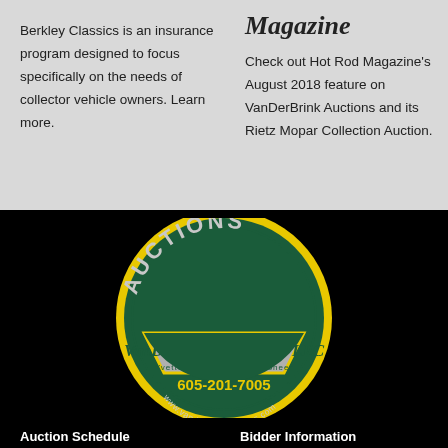Berkley Classics is an insurance program designed to focus specifically on the needs of collector vehicle owners. Learn more.
Magazine
Check out Hot Rod Magazine's August 2018 feature on VanDerBrink Auctions and its Rietz Mopar Collection Auction.
[Figure (logo): VanDerBrink Auctions LLC circular logo with green background, yellow border, silver banner reading 'VanDerBrink Auctions LLC', 'Yvette VanDerBrink Auctioneer', phone 605-201-7005 and website www.vanderbrinkauctions.com]
Auction Schedule    Bidder Information